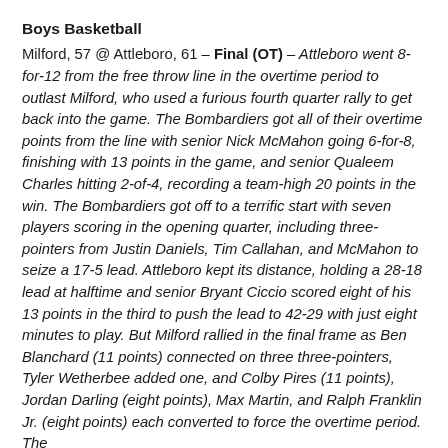Boys Basketball
Milford, 57 @ Attleboro, 61 – Final (OT) – Attleboro went 8-for-12 from the free throw line in the overtime period to outlast Milford, who used a furious fourth quarter rally to get back into the game. The Bombardiers got all of their overtime points from the line with senior Nick McMahon going 6-for-8, finishing with 13 points in the game, and senior Qualeem Charles hitting 2-of-4, recording a team-high 20 points in the win. The Bombardiers got off to a terrific start with seven players scoring in the opening quarter, including three-pointers from Justin Daniels, Tim Callahan, and McMahon to seize a 17-5 lead. Attleboro kept its distance, holding a 28-18 lead at halftime and senior Bryant Ciccio scored eight of his 13 points in the third to push the lead to 42-29 with just eight minutes to play. But Milford rallied in the final frame as Ben Blanchard (11 points) connected on three three-pointers, Tyler Wetherbee added one, and Colby Pires (11 points), Jordan Darling (eight points), Max Martin, and Ralph Franklin Jr. (eight points) each converted to force the overtime period. The